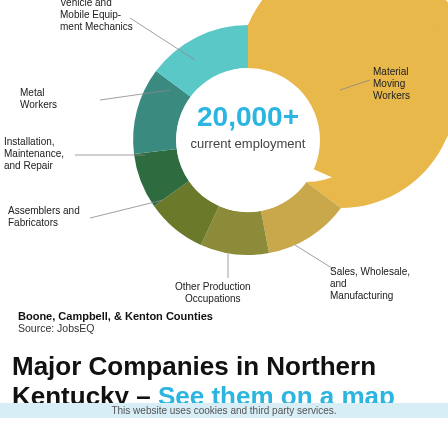[Figure (donut-chart): 20,000+ current employment]
Boone, Campbell, & Kenton Counties
Source: JobsEQ
Major Companies in Northern Kentucky – See them on a map
This website uses cookies and third party services.
| Ancra International | LOGOMAT
Automation Systems |